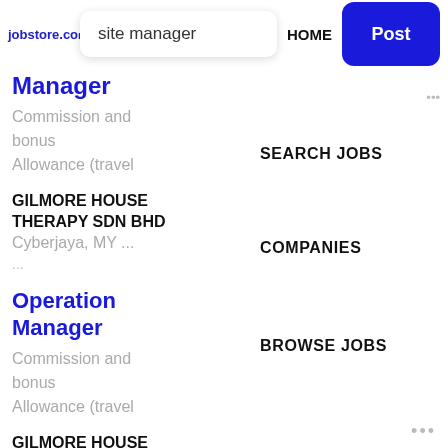jobstore.com | site manager | HOME | Post
Manager
Commission and bonus
Allowance (travel
SEARCH JOBS
GILMORE HOUSE THERAPY SDN BHD
Cyberjaya, MY ...
COMPANIES
Operation Manager
Commission and bonus
Allowance (travel
BROWSE JOBS
GILMORE HOUSE